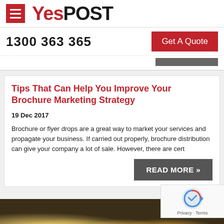[Figure (logo): YesPOST logo with hamburger menu icon on red background]
1300 363 365
Get A Quote
Tips That Can Help You Improve Your Brochure Marketing Strategy
19 Dec 2017
Brochure or flyer drops are a great way to market your services and propagate your business. If carried out properly, brochure distribution can give your company a lot of sale. However, there are cert
READ MORE »
[Figure (photo): Blurred photo of a restaurant or cafe interior with bokeh lights]